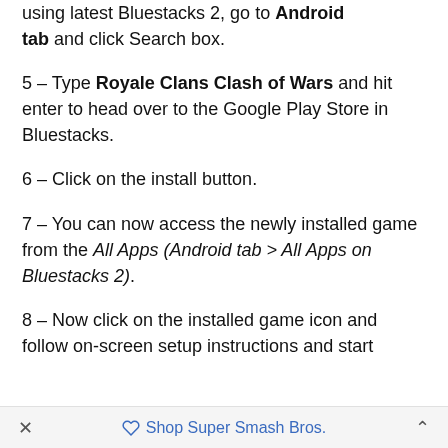using latest Bluestacks 2, go to Android tab and click Search box.
5 – Type Royale Clans Clash of Wars and hit enter to head over to the Google Play Store in Bluestacks.
6 – Click on the install button.
7 – You can now access the newly installed game from the All Apps (Android tab > All Apps on Bluestacks 2).
8 – Now click on the installed game icon and follow on-screen setup instructions and start
× Shop Super Smash Bros. ^